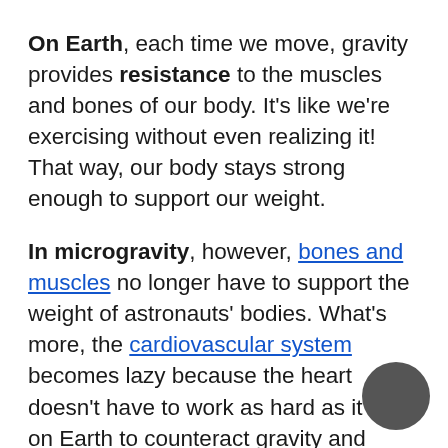On Earth, each time we move, gravity provides resistance to the muscles and bones of our body. It's like we're exercising without even realizing it! That way, our body stays strong enough to support our weight.
In microgravity, however, bones and muscles no longer have to support the weight of astronauts' bodies. What's more, the cardiovascular system becomes lazy because the heart doesn't have to work as hard as it does on Earth to counteract gravity and pump blood up to the head.